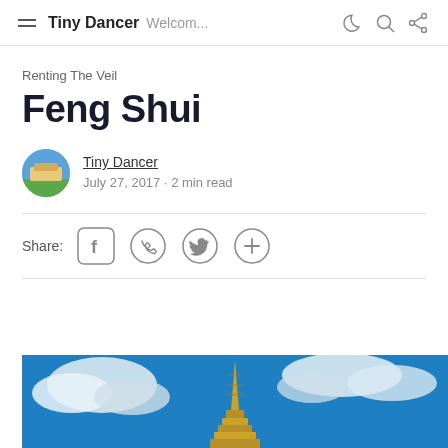Tiny Dancer Welcom...
Renting The Veil
Feng Shui
Tiny Dancer
July 27, 2017 • 2 min read
Share:
[Figure (photo): Photo of a Buddhist temple/pagoda with golden spire against a blue sky with white clouds]